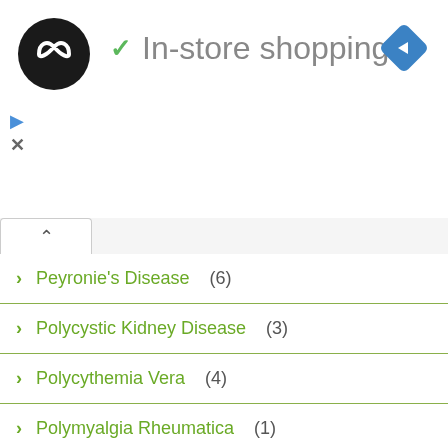[Figure (logo): Black circular logo with white infinite/loop symbol]
✓ In-store shopping
[Figure (other): Blue diamond navigation icon with white right arrow]
Peyronie's Disease (6)
Polycystic Kidney Disease (3)
Polycythemia Vera (4)
Polymyalgia Rheumatica (1)
Porphyria (2)
Post Polio Syndrome (1)
Premature Gray Hair (4)
Prickly Heat (3)